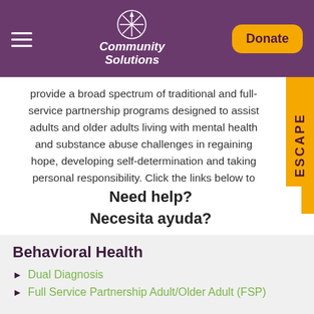Community Solutions — Donate
provide a broad spectrum of traditional and full-service partnership programs designed to assist adults and older adults living with mental health and substance abuse challenges in regaining hope, developing self-determination and taking personal responsibility. Click the links below to learn more about the services we provide.
Need help?
Necesita ayuda?
Behavioral Health
Dual Diagnosis
Full Service Partnership Adult/Older Adult (FSP)